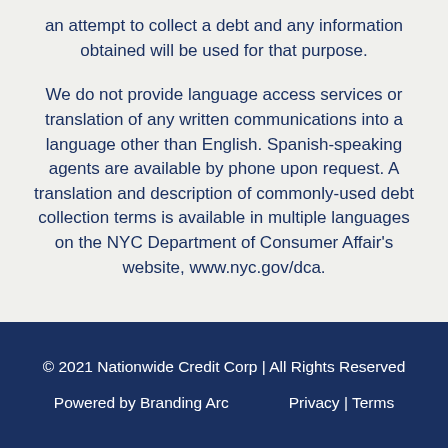an attempt to collect a debt and any information obtained will be used for that purpose.
We do not provide language access services or translation of any written communications into a language other than English. Spanish-speaking agents are available by phone upon request. A translation and description of commonly-used debt collection terms is available in multiple languages on the NYC Department of Consumer Affair's website, www.nyc.gov/dca.
© 2021 Nationwide Credit Corp | All Rights Reserved
Powered by Branding Arc   Privacy | Terms